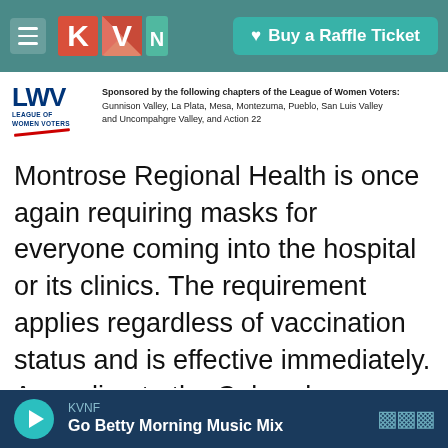KVNF | Buy a Raffle Ticket
[Figure (logo): League of Women Voters (LWV) logo with red underline]
Sponsored by the following chapters of the League of Women Voters: Gunnison Valley, La Plata, Mesa, Montezuma, Pueblo, San Luis Valley and Uncompahgre Valley, and Action 22
Montrose Regional Health is once again requiring masks for everyone coming into the hospital or its clinics. The requirement applies regardless of vaccination status and is effective immediately. According to the Colorado Department of Public Health and Environment, the two-week COVID positivity rate for Montrose County is 8.2 percent. Meanwhile, the state vaccine bus will stop in Montrose tomorrow at the Mexican American
KVNF
Go Betty Morning Music Mix